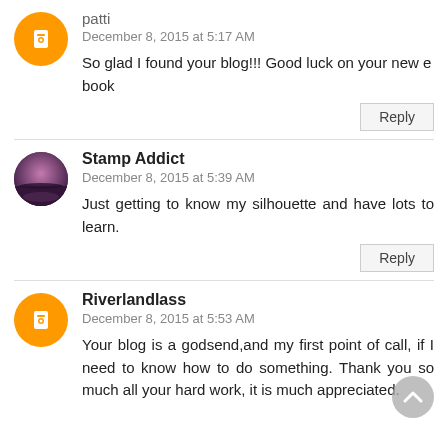[Figure (illustration): Blogger orange avatar icon for user patti]
patti
December 8, 2015 at 5:17 AM
So glad I found your blog!!! Good luck on your new e book
Reply
[Figure (photo): Avatar photo for Stamp Addict showing a landscape with purple sky reflected in water]
Stamp Addict
December 8, 2015 at 5:39 AM
Just getting to know my silhouette and have lots to learn.
Reply
[Figure (illustration): Blogger orange avatar icon for user Riverlandlass]
Riverlandlass
December 8, 2015 at 5:53 AM
Your blog is a godsend,and my first point of call, if I need to know how to do something. Thank you so much all your hard work, it is much appreciated.